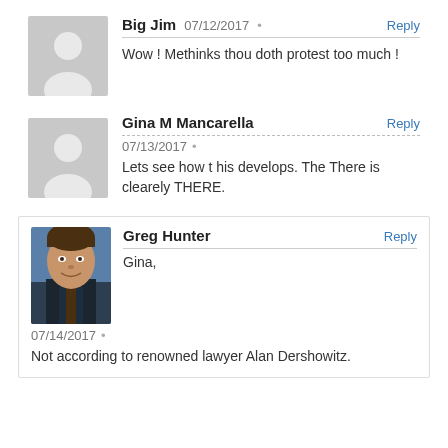Big Jim  07/12/2017  •  Reply
Wow ! Methinks thou doth protest too much !
Gina M Mancarella  Reply
07/13/2017  •
Lets see how t his develops. The There is clearely THERE.
[Figure (photo): Profile photo of Greg Hunter, a man in a suit smiling]
Greg Hunter  Reply
Gina,
07/14/2017  •
Not according to renowned lawyer Alan Dershowitz.